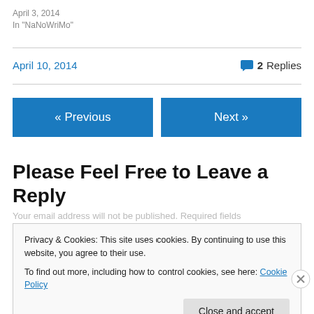April 3, 2014
In "NaNoWriMo"
April 10, 2014   💬 2 Replies
« Previous
Next »
Please Feel Free to Leave a Reply
Your email address will not be published. Required fields
Privacy & Cookies: This site uses cookies. By continuing to use this website, you agree to their use.
To find out more, including how to control cookies, see here: Cookie Policy
Close and accept